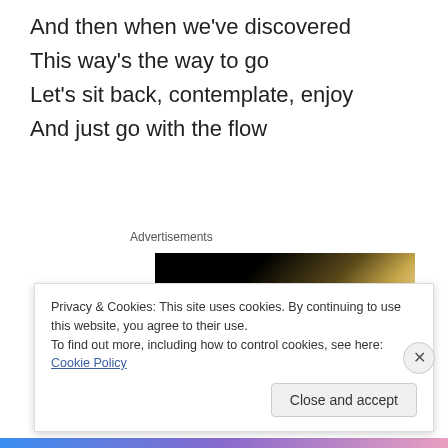And then when we've discovered
This way's the way to go
Let's sit back, contemplate, enjoy
And just go with the flow
Advertisements
[Figure (photo): Advertisement image showing a glowing rounded white object against a dark background]
Privacy & Cookies: This site uses cookies. By continuing to use this website, you agree to their use.
To find out more, including how to control cookies, see here: Cookie Policy